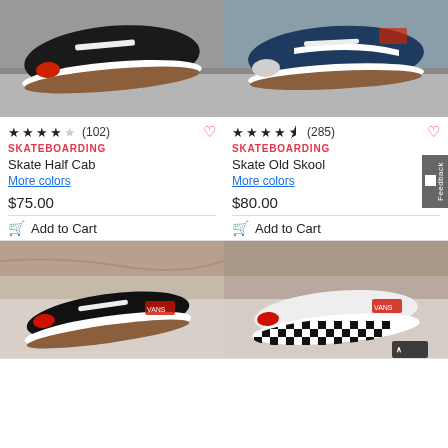[Figure (photo): Black Vans Skate Half Cab shoe shown from the side, with brown waffle sole, on a concrete surface]
★★★★☆ (102)
SKATEBOARDING
Skate Half Cab
More colors
$75.00
Add to Cart
[Figure (photo): Navy blue Vans Skate Old Skool shoe with white stripe and brown waffle sole, on a concrete surface]
★★★★½ (285)
SKATEBOARDING
Skate Old Skool
More colors
$80.00
Add to Cart
[Figure (photo): Black Vans Authentic low-top shoe with white laces and brown waffle sole, on a marble surface]
[Figure (photo): Vans shoe with black and white checkerboard pattern sole, on a surface]